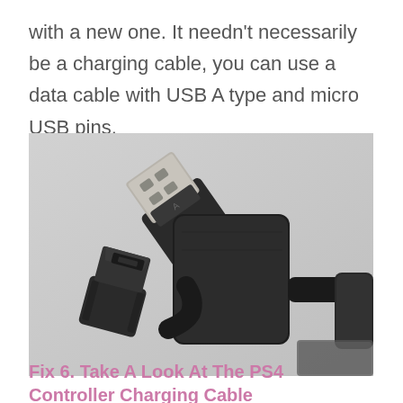with a new one. It needn't necessarily be a charging cable, you can use a data cable with USB A type and micro USB pins.
[Figure (photo): Close-up photograph of USB cables showing a standard USB Type-A connector (silver/metallic end) and a Mini USB connector (black), lying on a light gray surface. A third connector is partially visible on the right edge.]
Fix 6. Take A Look At The PS4 Controller Charging Cable